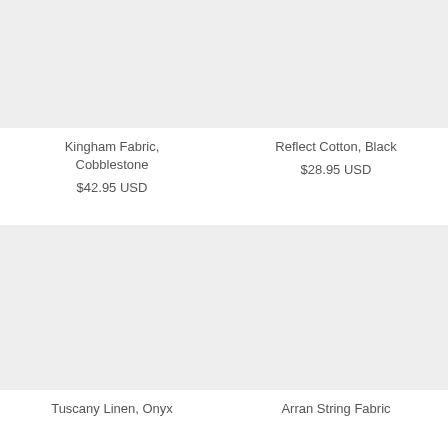[Figure (photo): Product image placeholder for Kingham Fabric, Cobblestone - light gray rectangle]
Kingham Fabric, Cobblestone
$42.95 USD
[Figure (photo): Product image placeholder for Reflect Cotton, Black - light gray rectangle]
Reflect Cotton, Black
$28.95 USD
[Figure (photo): Product image placeholder for Tuscany Linen, Onyx - light gray rectangle]
Tuscany Linen, Onyx
[Figure (photo): Product image placeholder for Arran String Fabric - light gray rectangle]
Arran String Fabric